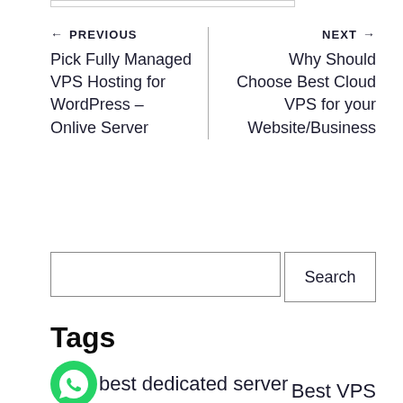← PREVIOUS
Pick Fully Managed VPS Hosting for WordPress – Onlive Server
NEXT →
Why Should Choose Best Cloud VPS for your Website/Business
Search
Tags
best dedicated server
Best VPS